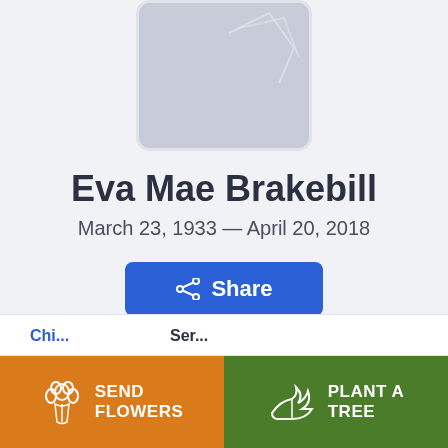[Figure (photo): Profile photo placeholder — gray rounded rectangle with a faint silhouette outline]
Eva Mae Brakebill
March 23, 1933 — April 20, 2018
Share
Send Flowers
Plant a Tree